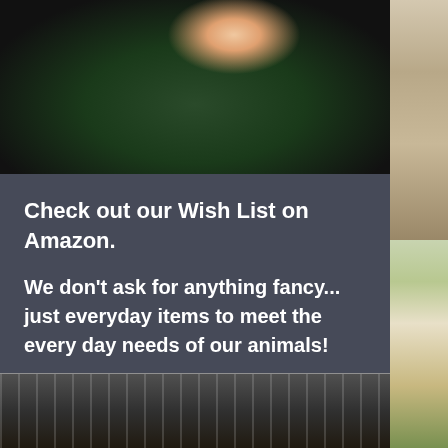[Figure (photo): Close-up photo of a dark-furred animal (likely a cat or rabbit) being held by a human hand, with green plants/foliage in the background]
Check out our Wish List on Amazon.
We don't ask for anything fancy... just everyday items to meet the every day needs of our animals!
Click to fulfill a wish!
[Figure (photo): Photo of a dark-furred animal (cat or similar) viewed from above, appearing to be in a carrier or cage with metal bars visible, with sunlight on its fur]
[Figure (photo): Right sidebar photo showing rocky cliffs/badlands landscape at top and desert plants/yucca at bottom]